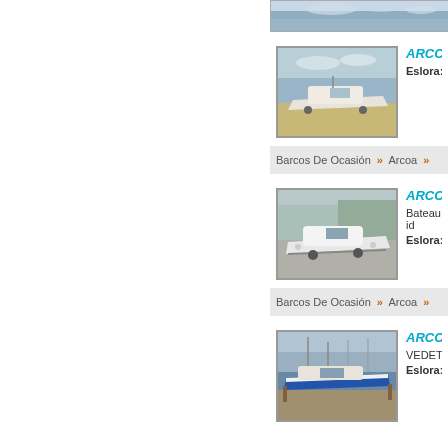[Figure (photo): Partial top image bar showing sky/water scene]
[Figure (photo): Boat listing 1 - ARCOA boat on land/trailer, overcast sky]
ARCOA
Eslora:
Barcos De Ocasión » Arcoa »
[Figure (photo): Boat listing 2 - ARCOA white boat on trailer]
ARCOA
Bateau id
Eslora:
Barcos De Ocasión » Arcoa »
[Figure (photo): Boat listing 3 - ARCOA blue boat in marina]
ARCOA
VEDETT
Eslora: